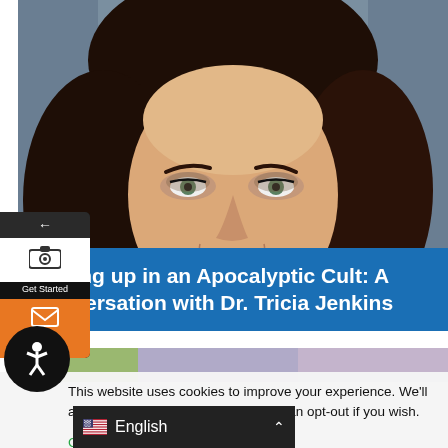[Figure (photo): Portrait photo of Dr. Tricia Jenkins, a woman with long dark brown hair and light eyes, smiling, against a gray background]
Growing up in an Apocalyptic Cult: A conversation with Dr. Tricia Jenkins
[Figure (photo): Partial second photo/image visible below the title banner]
This website uses cookies to improve your experience. We'll assume you're ok with this, but you can opt-out if you wish.
Cookie settings
ACCEPT
English